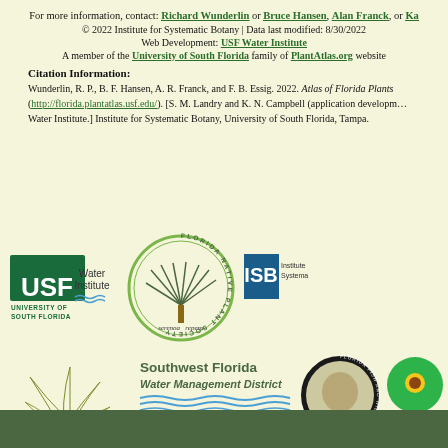For more information, contact: Richard Wunderlin or Bruce Hansen, Alan Franck, or Ka...
© 2022 Institute for Systematic Botany | Data last modified: 8/30/2022
Web Development: USF Water Institute
A member of the University of South Florida family of PlantAtlas.org website...
Citation Information:
Wunderlin, R. P., B. F. Hansen, A. R. Franck, and F. B. Essig. 2022. Atlas of Florida Plants (http://florida.plantatlas.usf.edu/). [S. M. Landry and K. N. Campbell (application development), USF Water Institute.] Institute for Systematic Botany, University of South Florida, Tampa.
[Figure (logo): USF Water Institute logo]
[Figure (logo): Florida Native Plant Society logo with serenoa repens]
[Figure (logo): ISB Institute for Systematic Botany logo]
[Figure (logo): Suncoast Chapter Florida Native Plant Society illustration]
[Figure (logo): Southwest Florida Water Management District logo]
[Figure (logo): Florida Fish and Wildlife Conservation Commission logo]
[Figure (logo): Florida Wildflower Foundation logo]